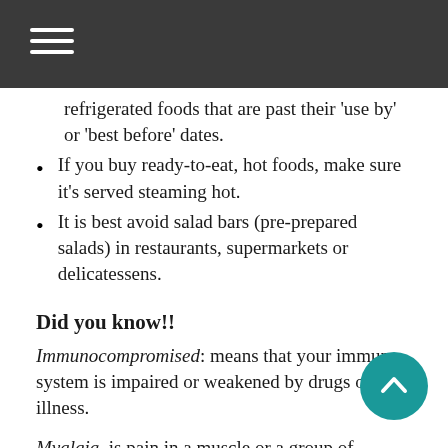refrigerated foods that are past their 'use by' or 'best before' dates.
If you buy ready-to-eat, hot foods, make sure it's served steaming hot.
It is best avoid salad bars (pre-prepared salads) in restaurants, supermarkets or delicatessens.
Did you know!!
Immunocompromised: means that your immune system is impaired or weakened by drugs or an illness.
Myalgia, is pain in a muscle or a group of muscles.
Malaise, is a general feeling of discomfort or unease whose exact cause is difficult to identify.
For any further information, contact